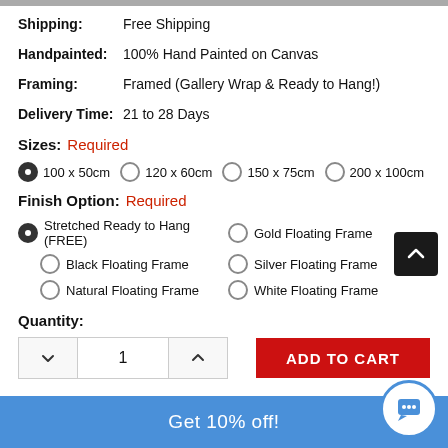Shipping: Free Shipping
Handpainted: 100% Hand Painted on Canvas
Framing: Framed (Gallery Wrap & Ready to Hang!)
Delivery Time: 21 to 28 Days
Sizes: Required
100 x 50cm (selected)
120 x 60cm
150 x 75cm
200 x 100cm
Finish Option: Required
Stretched Ready to Hang (FREE) (selected)
Gold Floating Frame
Black Floating Frame
Silver Floating Frame
Natural Floating Frame
White Floating Frame
Quantity:
ADD TO CART
Get 10% off!